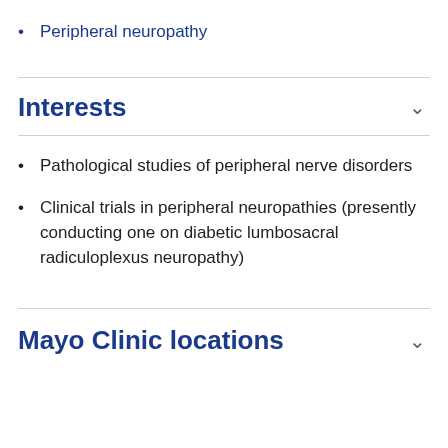Peripheral neuropathy
Interests
Pathological studies of peripheral nerve disorders
Clinical trials in peripheral neuropathies (presently conducting one on diabetic lumbosacral radiculoplexus neuropathy)
Mayo Clinic locations